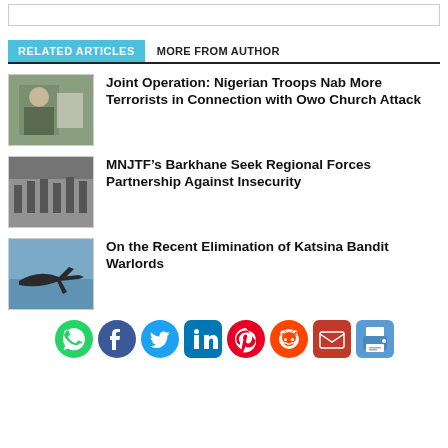RELATED ARTICLES   MORE FROM AUTHOR
[Figure (photo): Military officer in uniform sitting at a desk]
Joint Operation: Nigerian Troops Nab More Terrorists in Connection with Owo Church Attack
[Figure (photo): Group of military personnel in uniform standing in front of a banner]
MNJTF’s Barkhane Seek Regional Forces Partnership Against Insecurity
[Figure (photo): Military jet aircraft in flight]
On the Recent Elimination of Katsina Bandit Warlords
[Figure (infographic): Social media sharing icons: WhatsApp, Facebook, Twitter, LinkedIn, Pinterest, Reddit, Email, Print]